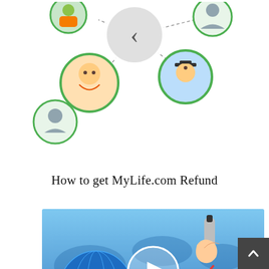[Figure (illustration): Social network diagram with circular profile photos connected by dashed lines on a white background. Shows multiple people including a woman laughing, a graduate, and silhouette icons connected in a network pattern with green circle borders.]
How to get MyLife.com Refund
[Figure (illustration): Blue-toned promotional image showing a globe on the left, a red upward trending line chart in the center, and a hand holding a pen on the right, with a white play button circle overlay in the center.]
Jobs in Eminent Paint Industries